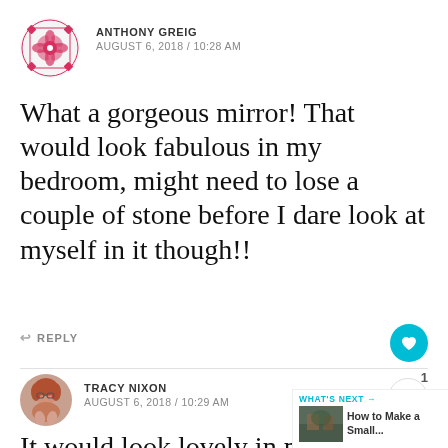[Figure (illustration): Avatar icon for Anthony Greig - decorative geometric/floral pattern in pink/red]
ANTHONY GREIG
AUGUST 6, 2018 / 10:28 AM
What a gorgeous mirror! That would look fabulous in my bedroom, might need to lose a couple of stone before I dare look at myself in it though!!
↩ REPLY
[Figure (illustration): Avatar photo for Tracy Nixon - woman with glasses and reddish hair]
TRACY NIXON
AUGUST 6, 2018 / 10:29 AM
It would look lovely in my bedro… you!
WHAT'S NEXT → How to Make a Small...